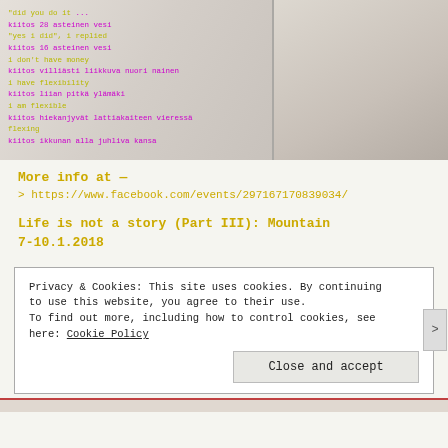[Figure (photo): Composite image showing a white pillow with overlaid bilingual text in magenta and yellow-green colors (Finnish/English phrases), and a right panel showing a hand holding a thin stylus or tool over a floor surface.]
More info at —
> https://www.facebook.com/events/297167170839034/
Life is not a story (Part III): Mountain
7-10.1.2018
Privacy & Cookies: This site uses cookies. By continuing to use this website, you agree to their use. To find out more, including how to control cookies, see here: Cookie Policy
Close and accept